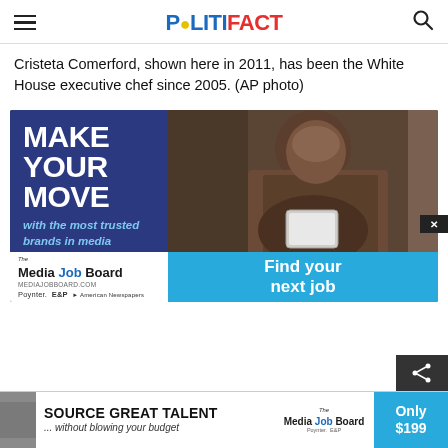POLITIFACT
Cristeta Comerford, shown here in 2011, has been the White House executive chef since 2005. (AP photo)
[Figure (illustration): Advertisement banner for Media Job Board: 'MAKE YOUR MOVE with the most trusted brands in media' featuring a man looking at a tablet, with 'Find your next job' call to action. Poynter, E&P, American Newspapers logos shown.]
[Figure (illustration): Bottom advertisement bar: 'SOURCE GREAT TALENT ... without blowing your budget' Media Job Board ad. 'Only $199' price shown in blue box.]